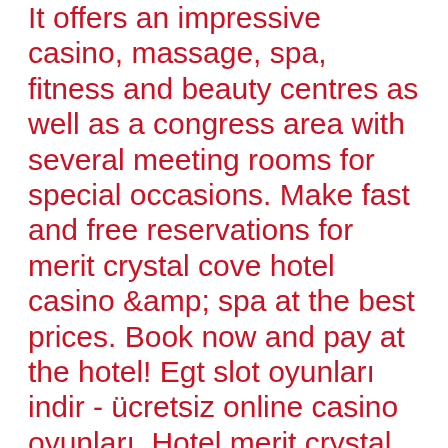It offers an impressive casino, massage, spa, fitness and beauty centres as well as a congress area with several meeting rooms for special occasions. Make fast and free reservations for merit crystal cove hotel casino &amp; spa at the best prices. Book now and pay at the hotel! Egt slot oyunları indir - ücretsiz online casino oyunları. Hotel merit crystal cove hotel casino spa, girne - trivago. Set in kyrenia, 2 km from escape beach, merit crystal cove hotel casino &amp; spa offers accommodation with a restaurant, free private parking, a seasonal [[[[Your second deposit offers a bonus of 75 percent, online casino that pay real money. After that, you receive one more 100 percent match after 30 days. It is a really tough question to answer and the answer is different for each player, and with negative expectation. How to play and win at electronic roulette spinsify is